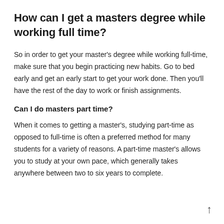How can I get a masters degree while working full time?
So in order to get your master's degree while working full-time, make sure that you begin practicing new habits. Go to bed early and get an early start to get your work done. Then you'll have the rest of the day to work or finish assignments.
Can I do masters part time?
When it comes to getting a master's, studying part-time as opposed to full-time is often a preferred method for many students for a variety of reasons. A part-time master's allows you to study at your own pace, which generally takes anywhere between two to six years to complete.